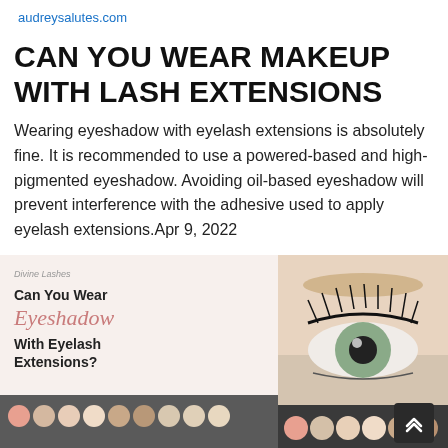audreysalutes.com
CAN YOU WEAR MAKEUP WITH LASH EXTENSIONS
Wearing eyeshadow with eyelash extensions is absolutely fine. It is recommended to use a powered-based and high-pigmented eyeshadow. Avoiding oil-based eyeshadow will prevent interference with the adhesive used to apply eyelash extensions.Apr 9, 2022
[Figure (photo): A composite image showing a close-up of a woman's eye with eyelash extensions on the right, and on the left an overlay with text reading 'Divine Lashes', 'Can You Wear', 'Eyeshadow', 'With Eyelash Extensions?' over a background showing makeup eyeshadow palettes]